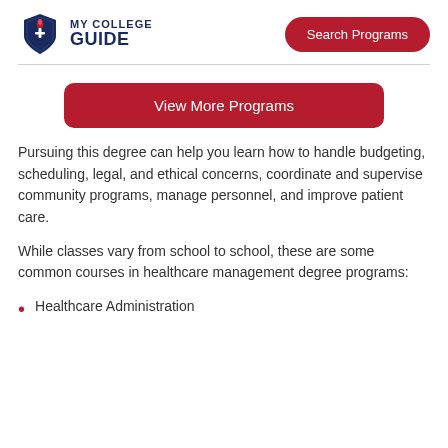MY COLLEGE GUIDE | Search Programs
View More Programs
Pursuing this degree can help you learn how to handle budgeting, scheduling, legal, and ethical concerns, coordinate and supervise community programs, manage personnel, and improve patient care.
While classes vary from school to school, these are some common courses in healthcare management degree programs:
Healthcare Administration